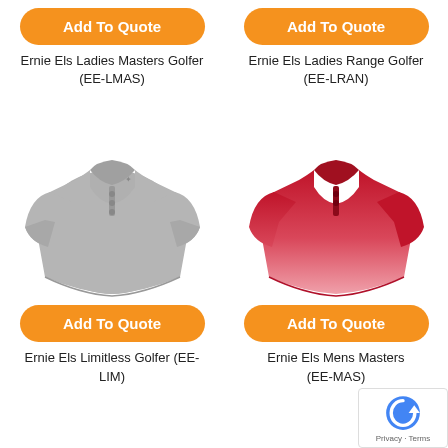[Figure (photo): Gray polo shirt product photo (top, partially shown)]
[Figure (photo): Red/pink ombre polo shirt product photo (top, partially shown)]
Add To Quote
Add To Quote
Ernie Els Ladies Masters Golfer (EE-LMAS)
Ernie Els Ladies Range Golfer (EE-LRAN)
[Figure (photo): Gray polo shirt full product photo]
[Figure (photo): Red/pink ombre polo shirt full product photo]
Add To Quote
Add To Quote
Ernie Els Limitless Golfer (EE-LIM)
Ernie Els Mens Masters (EE-MAS)